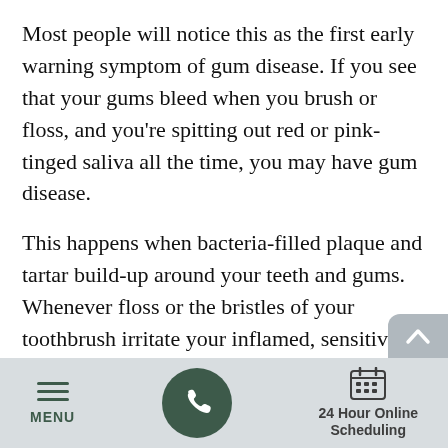Most people will notice this as the first early warning symptom of gum disease. If you see that your gums bleed when you brush or floss, and you're spitting out red or pink-tinged saliva all the time, you may have gum disease.
This happens when bacteria-filled plaque and tartar build-up around your teeth and gums. Whenever floss or the bristles of your toothbrush irritate your inflamed, sensitive gums, they're more likely to bleed.
MENU | [phone icon] | 24 Hour Online Scheduling